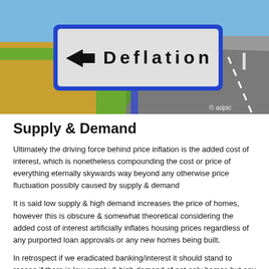[Figure (photo): A road sign on a post reading 'Deflation' with a left-pointing arrow, set against a rural background with grass and a road. Copyright mark '© adpic' in bottom right.]
Supply & Demand
Ultimately the driving force behind price inflation is the added cost of interest, which is nonetheless compounding the cost or price of everything eternally skywards way beyond any otherwise price fluctuation possibly caused by supply & demand
It is said low supply & high demand increases the price of homes, however this is obscure & somewhat theoretical considering the added cost of interest artificially inflates housing prices regardless of any purported loan approvals or any new homes being built.
In retrospect if we eradicated banking/interest it should stand to reason if there is low supply & high demand of not only homes but any particular product you should be paying less than what you would otherwise pay today. On the other side of the coin if there was high supply & low demand